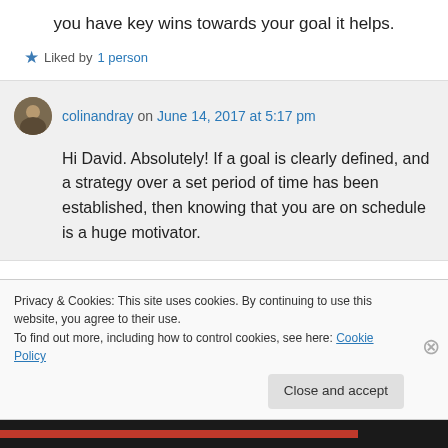you have key wins towards your goal it helps.
★ Liked by 1 person
colinandray on June 14, 2017 at 5:17 pm
Hi David. Absolutely! If a goal is clearly defined, and a strategy over a set period of time has been established, then knowing that you are on schedule is a huge motivator.
Privacy & Cookies: This site uses cookies. By continuing to use this website, you agree to their use.
To find out more, including how to control cookies, see here: Cookie Policy
Close and accept